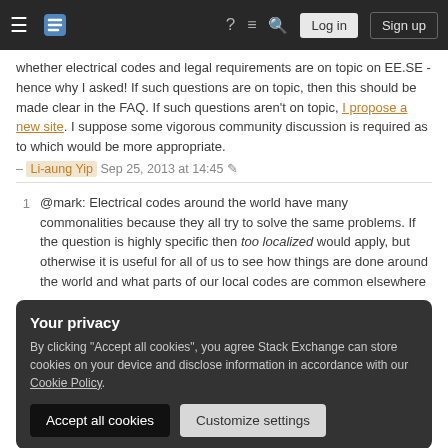Stack Exchange navigation bar with hamburger menu, logo, help, chat, search icons, Log in and Sign up buttons
whether electrical codes and legal requirements are on topic on EE.SE - hence why I asked! If such questions are on topic, then this should be made clear in the FAQ. If such questions aren't on topic, I propose a new site. I suppose some vigorous community discussion is required as to which would be more appropriate.
– Li-aung Yip Sep 25, 2013 at 14:45
1 @mark: Electrical codes around the world have many commonalities because they all try to solve the same problems. If the question is highly specific then too localized would apply, but otherwise it is useful for all of us to see how things are done around the world and what parts of our local codes are common elsewhere
Your privacy
By clicking "Accept all cookies", you agree Stack Exchange can store cookies on your device and disclose information in accordance with our Cookie Policy.
Accept all cookies  Customize settings
2 On further thought, the answer to a question about